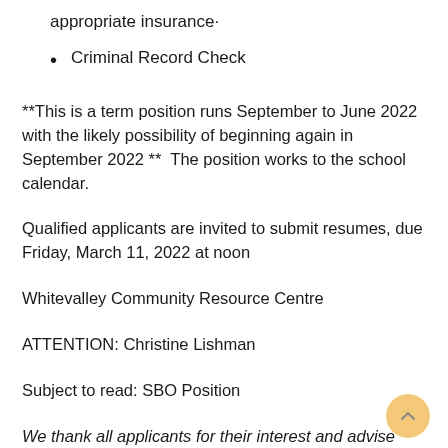appropriate insurance·
Criminal Record Check
**This is a term position runs September to June 2022 with the likely possibility of beginning again in September 2022 **  The position works to the school calendar.
Qualified applicants are invited to submit resumes, due Friday, March 11, 2022 at noon
Whitevalley Community Resource Centre
ATTENTION: Christine Lishman
Subject to read: SBO Position
We thank all applicants for their interest and advise